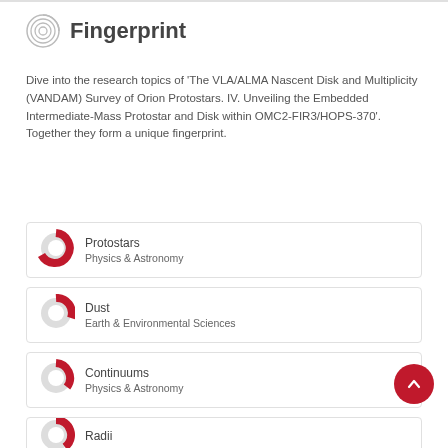Fingerprint
Dive into the research topics of 'The VLA/ALMA Nascent Disk and Multiplicity (VANDAM) Survey of Orion Protostars. IV. Unveiling the Embedded Intermediate-Mass Protostar and Disk within OMC2-FIR3/HOPS-370'. Together they form a unique fingerprint.
Protostars
Physics & Astronomy
Dust
Earth & Environmental Sciences
Continuums
Physics & Astronomy
Radii